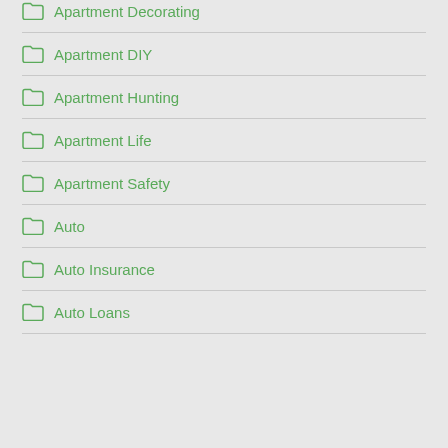Apartment Decorating
Apartment DIY
Apartment Hunting
Apartment Life
Apartment Safety
Auto
Auto Insurance
Auto Loans